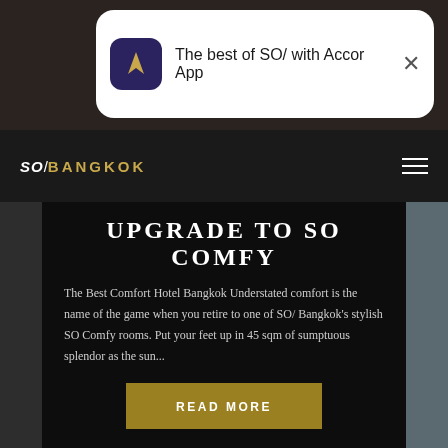[Figure (screenshot): Accor App notification banner with purple icon showing A logo and text 'The best of SO/ with Accor App' with close X button]
SO/BANGKOK
UPGRADE TO SO COMFY
The Best Comfort Hotel Bangkok Understated comfort is the name of the game when you retire to one of SO/ Bangkok's stylish SO Comfy rooms. Put your feet up in 45 sqm of sumptuous splendor as the sun...
[Figure (other): READ MORE button in gold/dark yellow color]